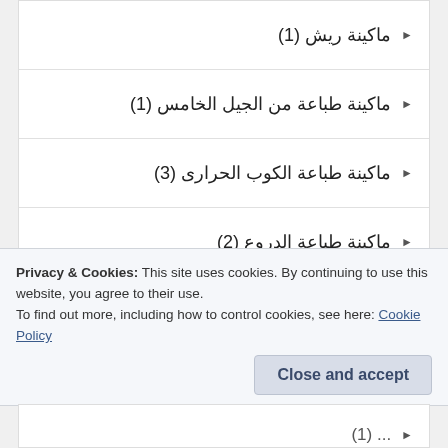ماكينة ريش (1)
ماكينة طباعة من الجيل الخامس (1)
ماكينة طباعة الكوب الحرارى (3)
ماكينة طباعة الدروع (2)
ماكينة طباعة باركود (2)
ماكينة طباعة سهلة الاستخدام (5)
ماكينة عمل المجسمات ثلاثية الابعاد (2)
مشروع مبتكر وغير مكلف (4)
Privacy & Cookies: This site uses cookies. By continuing to use this website, you agree to their use. To find out more, including how to control cookies, see here: Cookie Policy
... (1)